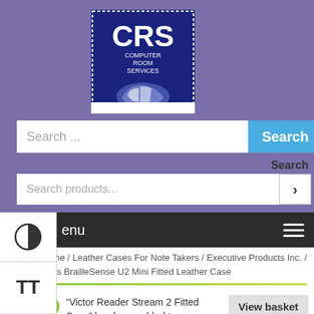[Figure (logo): CRS Computer Room Services logo - dark blue square with white text CRS and hands graphic]
Search ...
Search
Search
Search products...
[Figure (other): Accessibility contrast toggle button (half-filled circle icon)]
[Figure (other): Accessibility text size toggle button (TT icon)]
enu
Home / Leather Cases For Note Takers / Executive Products Inc. / Hims BrailleSense U2 Mini Fitted Leather Case
“Victor Reader Stream 2 Fitted Case” has been added to your basket.
View basket